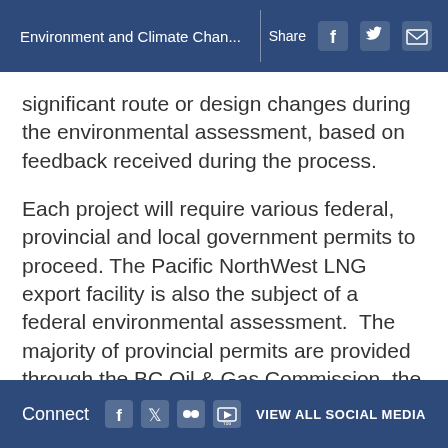Environment and Climate Chan...  Share
significant route or design changes during the environmental assessment, based on feedback received during the process.
Each project will require various federal, provincial and local government permits to proceed. The Pacific NorthWest LNG export facility is also the subject of a federal environmental assessment.  The majority of provincial permits are provided through the BC Oil & Gas Commission, the primary operational regulator of oil and gas activities in BC. The Environmental Assessment Office will co-ordinate compliance management efforts with
Connect  VIEW ALL SOCIAL MEDIA